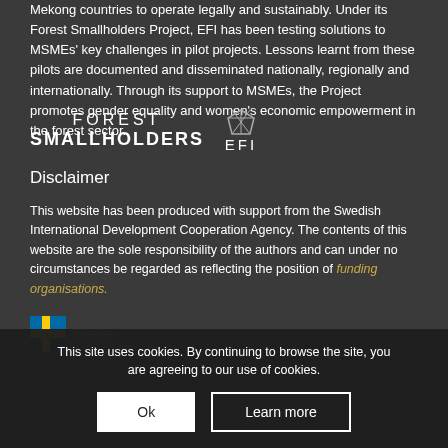Mekong countries to operate legally and sustainably. Under its Forest Smallholders Project, EFI has been testing solutions to MSMEs' key challenges in pilot projects. Lessons learnt from these pilots are documented and disseminated nationally, regionally and internationally. Through its support to MSMEs, the Project promotes gender equality and women's economic empowerment in the forest sector.
[Figure (logo): Forest Smallholders EFI logo — text reads FOREST SMALLHOLDERS with a leaf/EFI emblem]
Disclaimer
This website has been produced with support from the Swedish International Development Cooperation Agency. The contents of this website are the sole responsibility of the authors and can under no circumstances be regarded as reflecting the position of funding organisations.
[Figure (logo): Sweden / Sida logo with Swedish flag cross icon]
This site uses cookies. By continuing to browse the site, you are agreeing to our use of cookies.